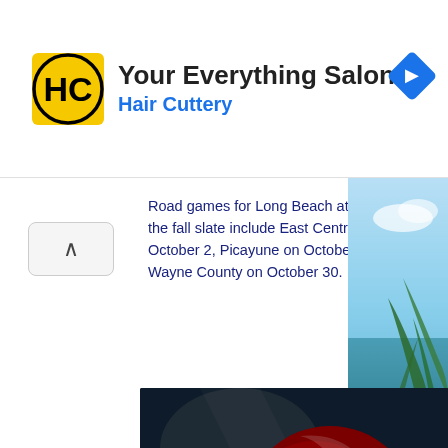[Figure (logo): Hair Cuttery HC logo in black and yellow circle, with 'Your Everything Salon' title and 'Hair Cuttery' subtitle in blue. Navigation arrow icon on right.]
Road games for Long Beach at 7 p.m. on the fall slate include East Central on October 2, Picayune on October 16 and Wayne County on October 30.
[Figure (infographic): Long Beach Bearcats 2020 football schedule on dark background with football player and helmet imagery. Schedule lists: Aug. 28 Pass Christian, Sept. 4 @ West Harrison, Sept. 11 @ Vancleave, Sept. 18 St. Stanislaus, Sept. 25 Gautier, Oct. 2 @ East Central, Oct. 9 Pearl River Central, Oct. 16 @ Picayune]
[Figure (photo): Beach/coastal scene with palm fronds and sky on right side margin]